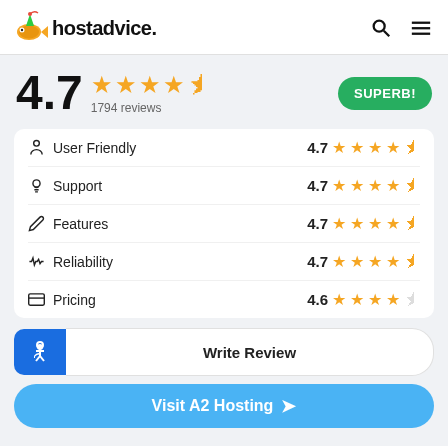hostadvice.
4.7 ★★★★½ 1794 reviews SUPERB!
User Friendly 4.7 ★★★★½
Support 4.7 ★★★★½
Features 4.7 ★★★★½
Reliability 4.7 ★★★★½
Pricing 4.6 ★★★★½
Write Review
Visit A2 Hosting →